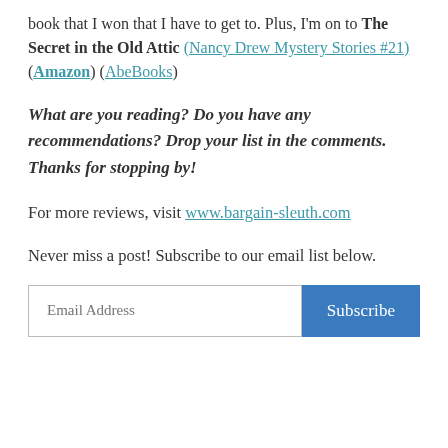book that I won that I have to get to. Plus, I'm on to The Secret in the Old Attic (Nancy Drew Mystery Stories #21) (Amazon) (AbeBooks)
What are you reading? Do you have any recommendations? Drop your list in the comments. Thanks for stopping by!
For more reviews, visit www.bargain-sleuth.com
Never miss a post! Subscribe to our email list below.